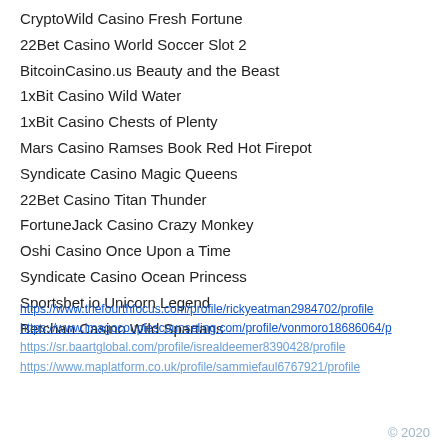CryptoWild Casino Fresh Fortune
22Bet Casino World Soccer Slot 2
BitcoinCasino.us Beauty and the Beast
1xBit Casino Wild Water
1xBit Casino Chests of Plenty
Mars Casino Ramses Book Red Hot Firepot
Syndicate Casino Magic Queens
22Bet Casino Titan Thunder
FortuneJack Casino Crazy Monkey
Oshi Casino Once Upon a Time
Syndicate Casino Ocean Princess
Sportsbet.io Unicorn Legend
Betchan Casino Wild Spartans
https://www.thefourthfocus.com/profile/rickyeatman2984702/profile
https://www.imagocouplescounseling.com/profile/vonmoro18686064/p
https://sr.baartglobal.com/profile/isrealdeemer8390428/profile
https://www.maplatform.co.uk/profile/sammiefaul6767921/profile
© 2020